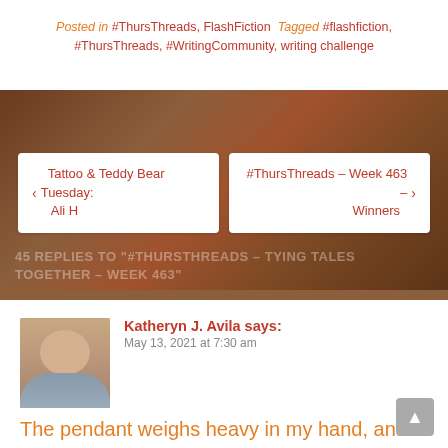Posted in #ThursThreads, FlashFiction  Tagged #flashfiction, #ThursThreads, #WritingCommunity, writing challenge
[Figure (photo): Background photo of leather straps and metal buckles/rings on a wooden surface, warm brown tones]
‹ Tattoo & Teddy Bear Tuesday: Ali H
#ThursThreads – Week 463 – Winners ›
45 REPLIES TO "#THURSTHREADS – TYING TALES TOGETHER – WEEK 463"
Katheryn J. Avila says: May 13, 2021 at 7:30 am
The pendant weighs heavy in my hand, and it's all I can really feel. That, and the pressure in my